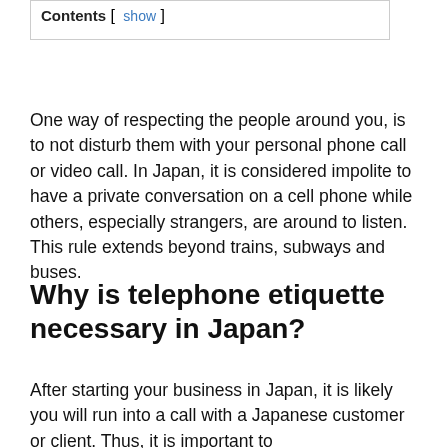Contents [ show ]
One way of respecting the people around you, is to not disturb them with your personal phone call or video call. In Japan, it is considered impolite to have a private conversation on a cell phone while others, especially strangers, are around to listen. This rule extends beyond trains, subways and buses.
Why is telephone etiquette necessary in Japan?
After starting your business in Japan, it is likely you will run into a call with a Japanese customer or client. Thus, it is important to